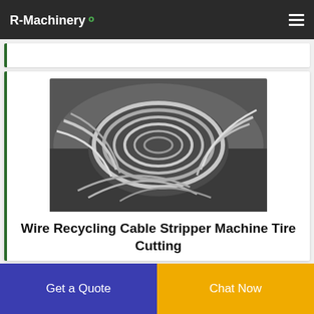R-Machinery
[Figure (photo): Coiled and bundled wires/cables in black and white, shown on a dark plastic background, used for wire recycling cable stripper machine product listing.]
Wire Recycling Cable Stripper Machine Tire Cutting
Waste Circuit Board Recycling Equipment. Circuit Board Recycling Line Waste Plastic Crushing Equipment We are the
Get a Quote
Chat Now